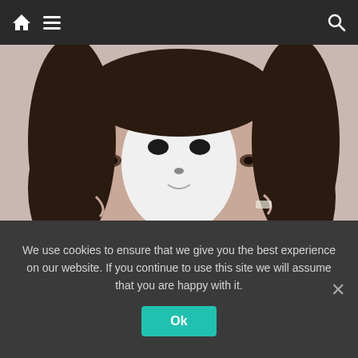Navigation bar with home, menu, and search icons
[Figure (photo): A woman with curly dark hair holding a white theater mask in front of her face, suggesting dual identity or schizophrenia concept]
What are Early Signs of Schizophrenia? (Take A Look)
Schizophrenia | Search Ads | Sponsored
Click Here
We use cookies to ensure that we give you the best experience on our website. If you continue to use this site we will assume that you are happy with it.
Ok